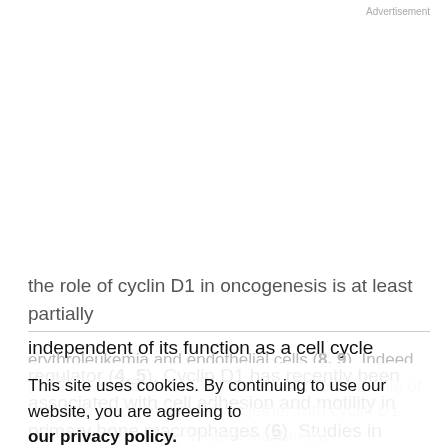Advertisement
the role of cyclin D1 in oncogenesis is at least partially independent of its function as a cell cycle regulator (4, 5). Cyclin D1 has recently been associated with cell adhesion and motility in primary bone macrophages (6). Studies in cyclin D1−/− mouse embryo fibroblasts revealed that cyclin D1 inhibits Rho-activated kinase II and thrombospondin 1 to promote cell migration (7). The cdk inhibitor p16INK4a has also been shown to inhibit the migration of
erythroleukemia and endothelial cells (8, 9). Indeed, p16INK4a colocalized in the ruffles and lamellipodia of migrating endothelial cells together with cyclin D1, cdk4/6, and the αvβ3-integrin machinery.
This site uses cookies. By continuing to use our website, you are agreeing to our privacy policy.
Accept